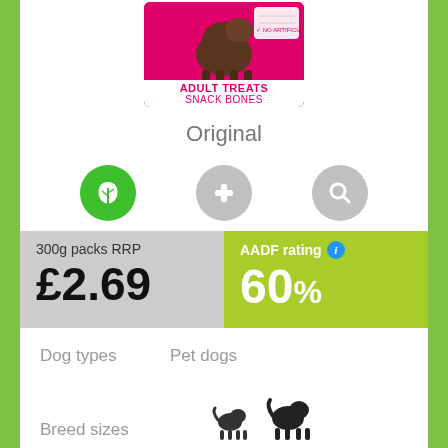[Figure (photo): Product package image: pink box labeled 'Adult Treats Snack Bones' with dog silhouette]
Original
[Figure (infographic): Three circular icons: green leaf icon, gray plus/cross icon, gray magnifying glass icon]
| 300g packs RRP | AADF rating |
| --- | --- |
| £2.69 | 60% |
Dog types   Pet dogs
Breed sizes